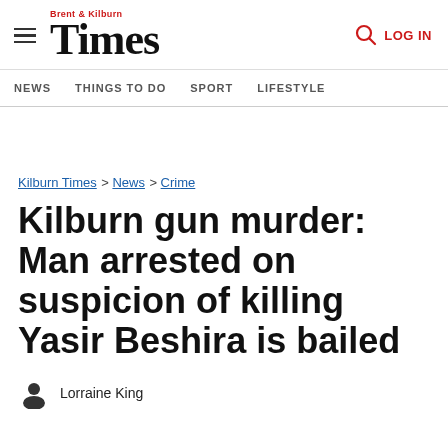Brent & Kilburn Times | NEWS | THINGS TO DO | SPORT | LIFESTYLE | LOG IN
Kilburn Times > News > Crime
Kilburn gun murder: Man arrested on suspicion of killing Yasir Beshira is bailed
Lorraine King